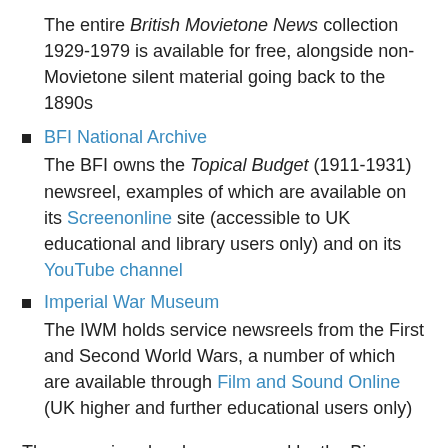The entire British Movietone News collection 1929-1979 is available for free, alongside non-Movietone silent material going back to the 1890s
BFI National Archive
The BFI owns the Topical Budget (1911-1931) newsreel, examples of which are available on its Screenonline site (accessible to UK educational and library users only) and on its YouTube channel
Imperial War Museum
The IWM holds service newsreels from the First and Second World Wars, a number of which are available through Film and Sound Online (UK higher and further educational users only)
These services has been covered by the Bioscope before now (see links below). As it is Pathé's centenary, let's finish with a few words about the... First of all, the